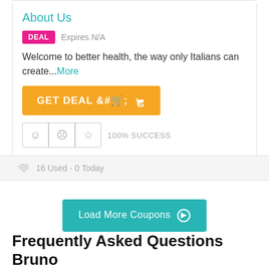About Us
DEAL   Expires N/A
Welcome to better health, the way only Italians can create...More
GET DEAL
100% SUCCESS
16 Used - 0 Today
Load More Coupons
Frequently Asked Questions Bruno